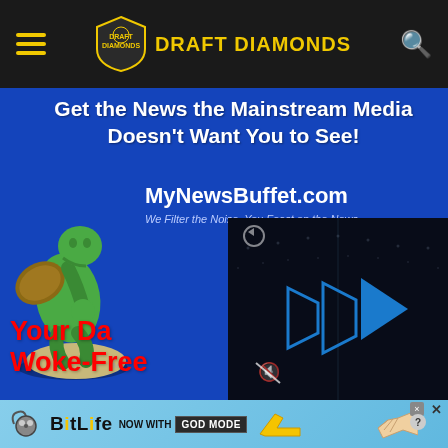Draft Diamonds — navigation header with hamburger menu and search icon
[Figure (infographic): MyNewsBuffet.com advertisement banner on blue background featuring a green thinker statue, headline 'Get the News the Mainstream Media Doesn't Want You to See!', site name 'MyNewsBuffet.com', tagline 'We Filter the Noise, You Feast on the News', red text 'Your Da... Woke-Free...', and a video player overlay on the right]
[Figure (infographic): BitLife mobile game advertisement with light blue background, BitLife logo, 'NOW WITH GOD MODE' text, thumbs up graphic, and close/question buttons]